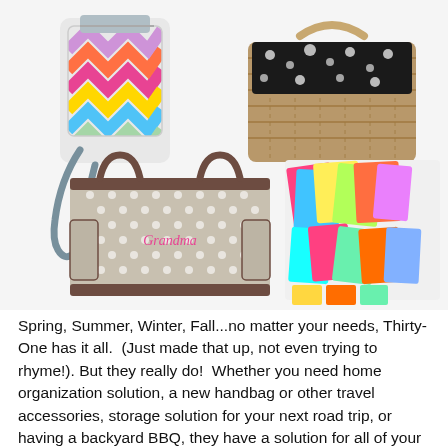[Figure (photo): Four product photos: top-left a colorful chevron wristlet bag with grey strap, top-right a wicker basket with black and white floral fabric liner, bottom-left a grey polka-dot large utility tote bag with brown handles and monogram, bottom-right a spread of colorful stationery/card sets and accessories.]
Spring, Summer, Winter, Fall...no matter your needs, Thirty-One has it all.  (Just made that up, not even trying to rhyme!). But they really do!  Whether you need home organization solution, a new handbag or other travel accessories, storage solution for your next road trip, or having a backyard BBQ, they have a solution for all of your needs.  Their product line includes tons of accessories, like wallets, stationary, umbrellas, even scarves to jazz up your